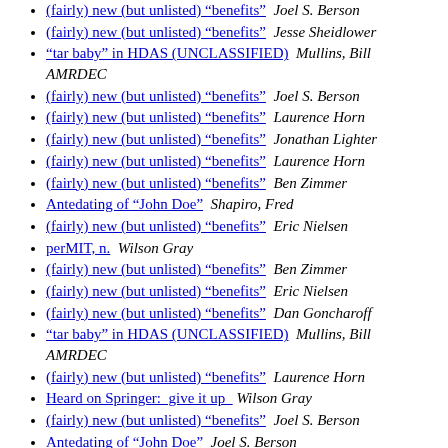(fairly) new (but unlisted) "benefits"  Joel S. Berson
(fairly) new (but unlisted) "benefits"  Jesse Sheidlower
"tar baby" in HDAS (UNCLASSIFIED)  Mullins, Bill AMRDEC
(fairly) new (but unlisted) "benefits"  Joel S. Berson
(fairly) new (but unlisted) "benefits"  Laurence Horn
(fairly) new (but unlisted) "benefits"  Jonathan Lighter
(fairly) new (but unlisted) "benefits"  Laurence Horn
(fairly) new (but unlisted) "benefits"  Ben Zimmer
Antedating of "John Doe"  Shapiro, Fred
(fairly) new (but unlisted) "benefits"  Eric Nielsen
perMIT, n.  Wilson Gray
(fairly) new (but unlisted) "benefits"  Ben Zimmer
(fairly) new (but unlisted) "benefits"  Eric Nielsen
(fairly) new (but unlisted) "benefits"  Dan Goncharoff
"tar baby" in HDAS (UNCLASSIFIED)  Mullins, Bill AMRDEC
(fairly) new (but unlisted) "benefits"  Laurence Horn
Heard on Springer:  give it up   Wilson Gray
(fairly) new (but unlisted) "benefits"  Joel S. Berson
Antedating of "John Doe"  Joel S. Berson
More on substituting   Jonathan Lighter
More on substituting   Wilson Gray
Is "tar baby" in "All in the Family"?  Neal Whitman
More on substituting  Garson O'Toole
Is "tar baby" in "All in the Family"?  Wilson Gray